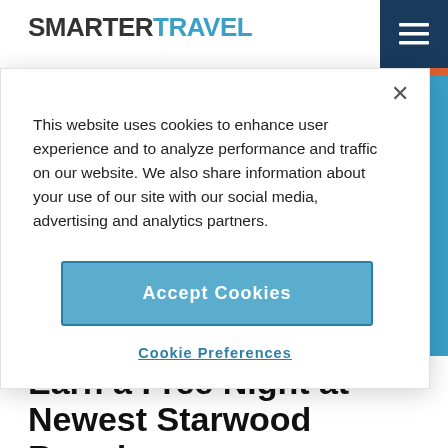SMARTER TRAVEL
This website uses cookies to enhance user experience and to analyze performance and traffic on our website. We also share information about your use of our site with our social media, advertising and analytics partners.
Accept Cookies
Cookie Preferences
FREQUENT FLYER   Aug 12, 2018
Earn a Free Night at Newest Starwood Brands